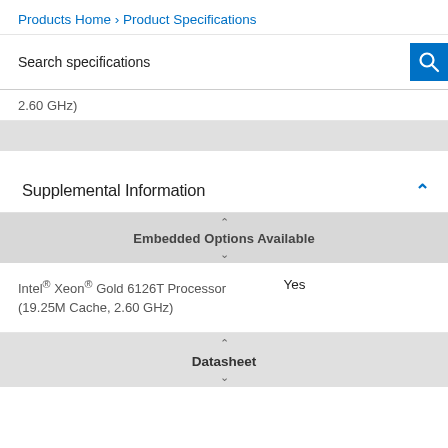Products Home › Product Specifications
Search specifications
2.60 GHz)
Supplemental Information
Embedded Options Available
|  | Embedded Options Available |
| --- | --- |
| Intel® Xeon® Gold 6126T Processor (19.25M Cache, 2.60 GHz) | Yes |
Datasheet